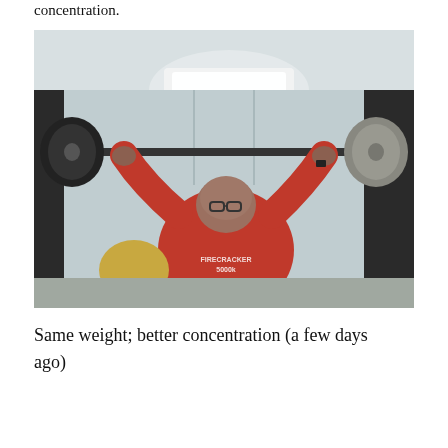concentration.
[Figure (photo): A man in a red 'Firecracker 5000k' t-shirt doing an overhead press with a barbell loaded with weight plates in a gym. He is looking up at the bar. The gym has fluorescent lighting and light-colored walls.]
Same weight; better concentration (a few days ago)